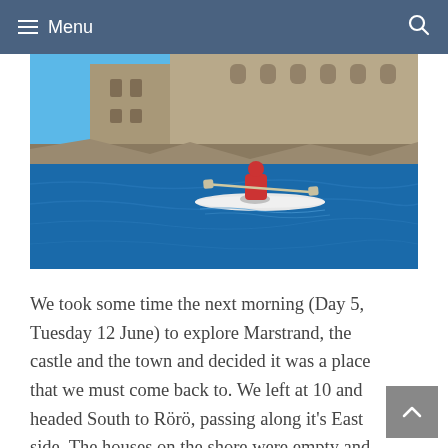Menu
[Figure (photo): A kayaker paddling in blue water alongside a large stone castle/fortress wall under a clear blue sky. The castle is built on a rocky promontory. The kayak is white and the paddler is wearing a red jacket.]
We took some time the next morning (Day 5, Tuesday 12 June) to explore Marstrand, the castle and the town and decided it was a place that we must come back to. We left at 10 and headed South to Rörö, passing along it's East side. The houses on the shore were empty and clearly just for holiday use only. We stopped for